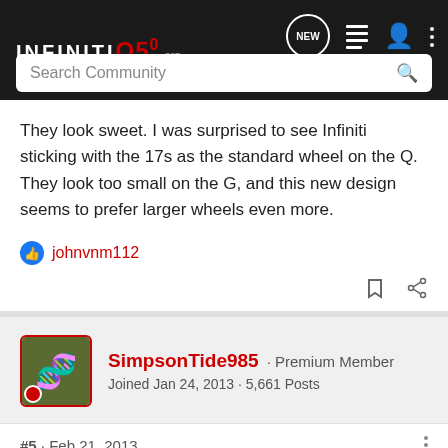INFINITI Q50 .org — NEW — navigation icons
They look sweet. I was surprised to see Infiniti sticking with the 17s as the standard wheel on the Q. They look too small on the G, and this new design seems to prefer larger wheels even more.
👍 johnvnm112
SimpsonTide985 · Premium Member
Joined Jan 24, 2013 · 5,661 Posts
#5 · Feb 21, 2013